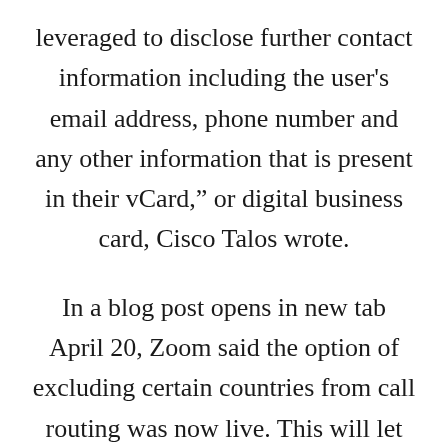leveraged to disclose further contact information including the user's email address, phone number and any other information that is present in their vCard," or digital business card, Cisco Talos wrote.
In a blog post opens in new tab April 20, Zoom said the option of excluding certain countries from call routing was now live. This will let Zoom meeting administrators avoid having meeting data routed through Zoom servers in China, the U.